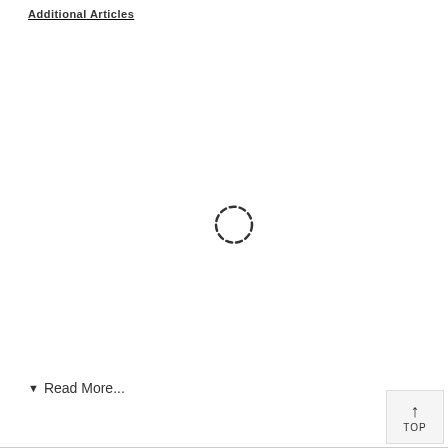Additional Articles
[Figure (other): Dashed circle loading spinner icon centered on the page]
▼ Read More...
[Figure (other): TOP button with upward arrow in bottom right corner]